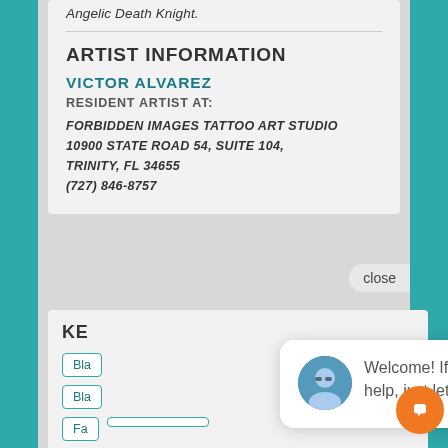Angelic Death Knight.
ARTIST INFORMATION
VICTOR ALVAREZ
RESIDENT ARTIST AT:
FORBIDDEN IMAGES TATTOO ART STUDIO
10900 STATE ROAD 54, SUITE 104,
TRINITY, FL 34655
(727) 846-8757
KE[YWORDS]
Bla[ck]
Bla[ck]
Fa[ntasy]
Religious Tattoos
Body Part Arm Sleeve Tattoos
Custom Tattoos
Welcome! If there is any way I can help, just let me know here.